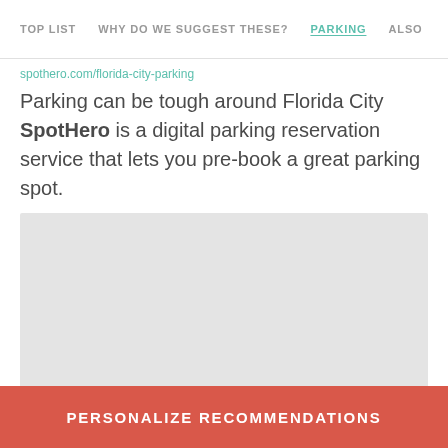TOP LIST   WHY DO WE SUGGEST THESE?   PARKING   ALSO
Parking can be tough around Florida City SpotHero is a digital parking reservation service that lets you pre-book a great parking spot.
[Figure (map): Light gray map placeholder area showing a map of Florida City parking area]
PERSONALIZE RECOMMENDATIONS